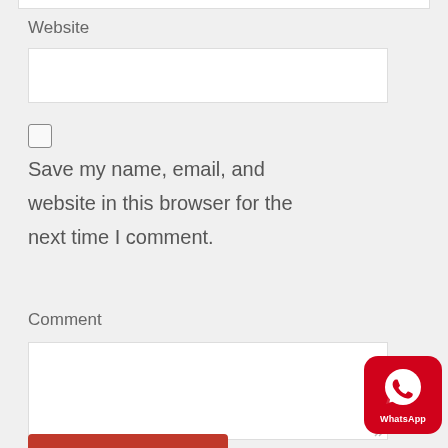Website
[Figure (screenshot): Empty text input field for website URL]
[Figure (screenshot): Unchecked checkbox]
Save my name, email, and website in this browser for the next time I comment.
Comment
[Figure (screenshot): Empty textarea for comment input]
[Figure (logo): WhatsApp badge icon with red rounded square background, phone/chat icon and WhatsApp text label]